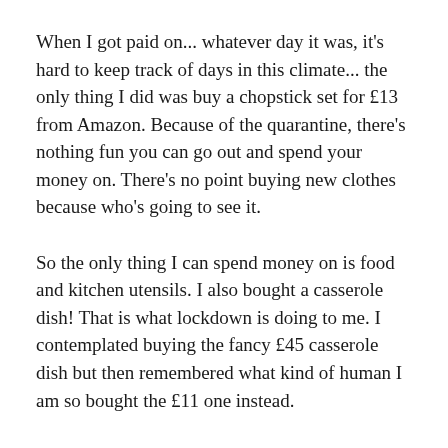When I got paid on... whatever day it was, it's hard to keep track of days in this climate... the only thing I did was buy a chopstick set for £13 from Amazon. Because of the quarantine, there's nothing fun you can go out and spend your money on. There's no point buying new clothes because who's going to see it.
So the only thing I can spend money on is food and kitchen utensils. I also bought a casserole dish! That is what lockdown is doing to me. I contemplated buying the fancy £45 casserole dish but then remembered what kind of human I am so bought the £11 one instead.
So today for dinner I combined my two new kitchen items and made a Chinese 5 spice braised beef stew. A stew is the kind of dish that I tend to avoid making